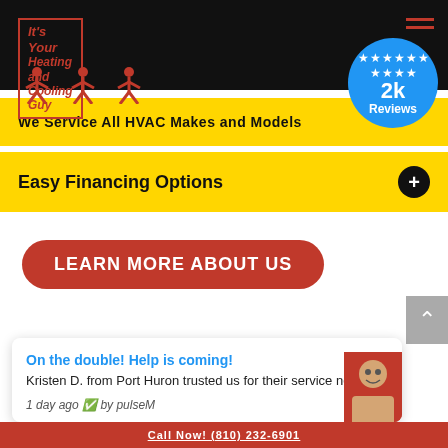[Figure (logo): It's Your Heating and Cooling Guy logo with red border and three running figures]
We Service All HVAC Makes and Models
Easy Financing Options
LEARN MORE ABOUT US
On the double! Help is coming!
Kristen D. from Port Huron trusted us for their service needs!
1 day ago  by pulseM
Call Now! (810) 232-6901